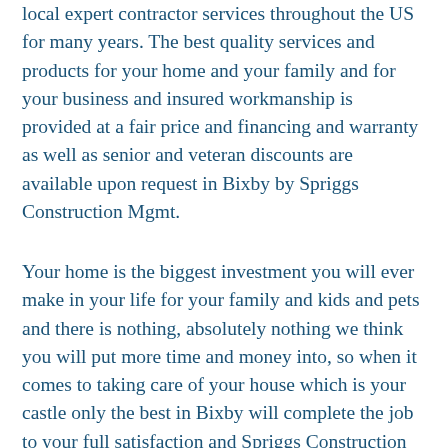local expert contractor services throughout the US for many years. The best quality services and products for your home and your family and for your business and insured workmanship is provided at a fair price and financing and warranty as well as senior and veteran discounts are available upon request in Bixby by Spriggs Construction Mgmt.
Your home is the biggest investment you will ever make in your life for your family and kids and pets and there is nothing, absolutely nothing we think you will put more time and money into, so when it comes to taking care of your house which is your castle only the best in Bixby will complete the job to your full satisfaction and Spriggs Construction Mgmt are happy